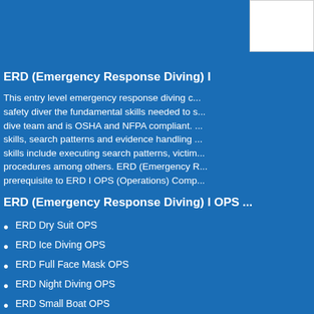[Figure (other): White rectangular box in upper right corner]
ERD (Emergency Response Diving) I
This entry level emergency response diving c... safety diver the fundamental skills needed to s... dive team and is OSHA and NFPA compliant. ... skills, search patterns and evidence handling ... skills include executing search patterns, victim... procedures among others. ERD (Emergency ... prerequisite to ERD I OPS (Operations) Comp...
ERD (Emergency Response Diving) I OPS ...
ERD Dry Suit OPS
ERD Ice Diving OPS
ERD Full Face Mask OPS
ERD Night Diving OPS
ERD Small Boat OPS
ERD U/W Crime Scene Investigations
ERD (Emergency Response Diving) II
This ERDI course enables the public safety di... advanced skills in emergency response divi...